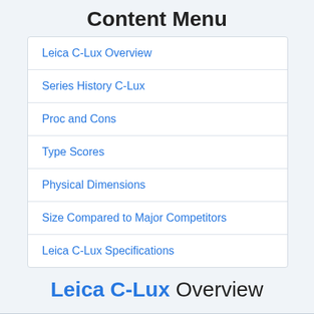Content Menu
Leica C-Lux Overview
Series History C-Lux
Proc and Cons
Type Scores
Physical Dimensions
Size Compared to Major Competitors
Leica C-Lux Specifications
Leica C-Lux Overview